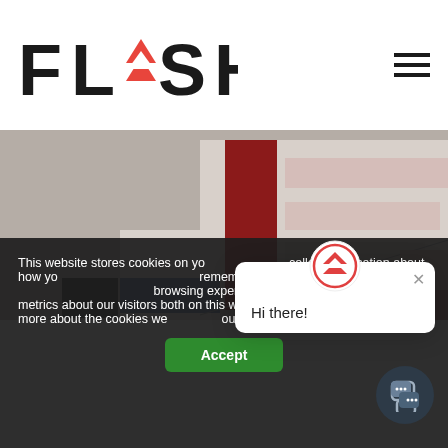[Figure (logo): FLASH logo with red chevron/arrow icon replacing the letter A, black bold text]
[Figure (illustration): Abstract artwork with geometric shapes: dark red vertical rectangle, light panels, black rectangle, blue rectangle, pink/mauve horizontal bars on grey/beige background]
This website stores cookies on your computer to collect information about how you interact with our website and allow us to remember you. We use this information in order to improve your browsing experience and for analytics and metrics about our visitors both on this website and other media. To find out more about the cookies we use, see our Privacy Policy.
[Figure (screenshot): Chat widget popup showing red/coral arrow chevron logo icon at top center, close X button top right, and 'Hi there!' greeting text]
[Figure (other): Dark circular chat button with speech bubble icon, bottom right corner]